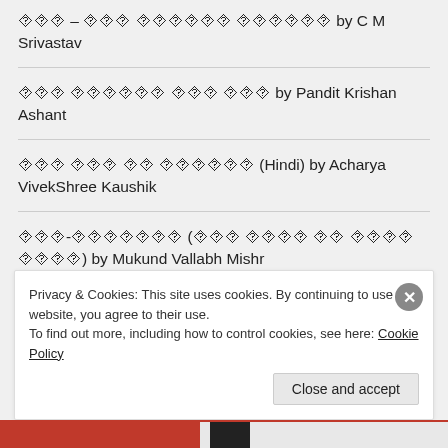??? – ??? ?????? ?????? by C M Srivastav
??? ?????? ??? ??? by Pandit Krishan Ashant
??? ??? ?? ?????? (Hindi) by Acharya VivekShree Kaushik
???-??????? (??? ???? ?? ???? ????) by Mukund Vallabh Mishr
???????? ???? ?????? by H N Katwe
???????? ???? ?????? by Shivkant Jha
Privacy & Cookies: This site uses cookies. By continuing to use this website, you agree to their use.
To find out more, including how to control cookies, see here: Cookie Policy
Close and accept